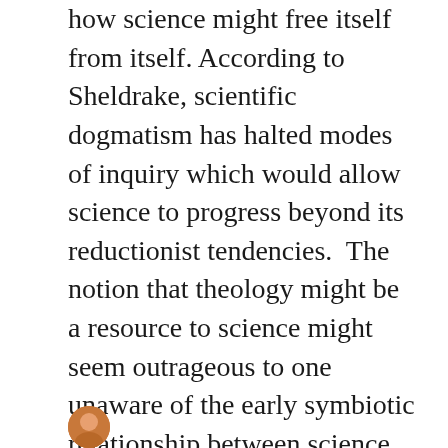how science might free itself from itself. According to Sheldrake, scientific dogmatism has halted modes of inquiry which would allow science to progress beyond its reductionist tendencies. The notion that theology might be a resource to science might seem outrageous to one unaware of the early symbiotic relationship between science and theology. At the same time, this relationship also points to the sort of theology that has proven fruitful in spawning a scientific mode of inquiry. Theologies and sciences are not all equal and one way of ascertaining a degraded or superior form of each is to judge the fruitfulness of their interaction. Continue reading
[Figure (photo): Small circular avatar photo of a person, partially visible at the bottom of the page]